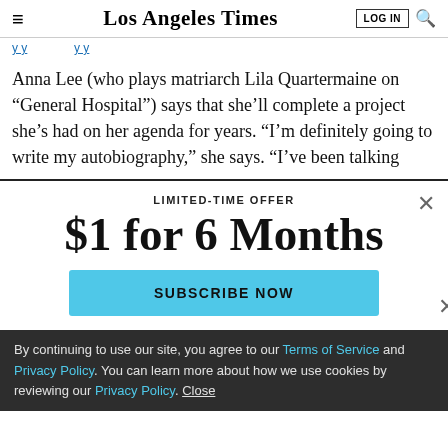Los Angeles Times | LOG IN
Anna Lee (who plays matriarch Lila Quartermaine on “General Hospital”) says that she’ll complete a project she’s had on her agenda for years. “I’m definitely going to write my autobiography,” she says. “I’ve been talking
LIMITED-TIME OFFER
$1 for 6 Months
SUBSCRIBE NOW
By continuing to use our site, you agree to our Terms of Service and Privacy Policy. You can learn more about how we use cookies by reviewing our Privacy Policy. Close